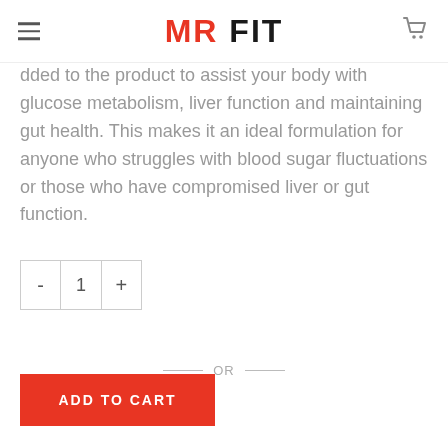MR FIT
dded to the product to assist your body with glucose metabolism, liver function and maintaining gut health. This makes it an ideal formulation for anyone who struggles with blood sugar fluctuations or those who have compromised liver or gut function.
- 1 +
— OR —
ADD TO CART